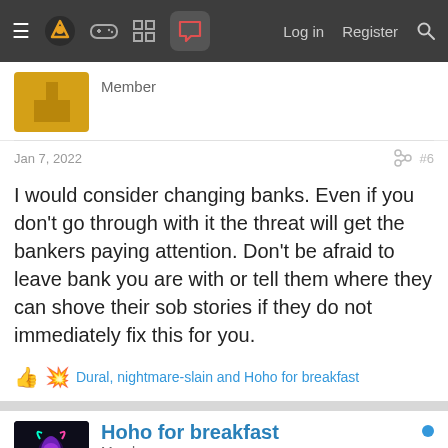Navigation bar with menu, logo, icons, Log in, Register, Search
Member
Jan 7, 2022  #6
I would consider changing banks. Even if you don't go through with it the threat will get the bankers paying attention. Don't be afraid to leave bank you are with or tell them where they can shove their sob stories if they do not immediately fix this for you.
Dural, nightmare-slain and Hoho for breakfast
Hoho for breakfast
Member
Jan 7, 2022
Mystery solved. It was just an authorized bill of sorts. It was